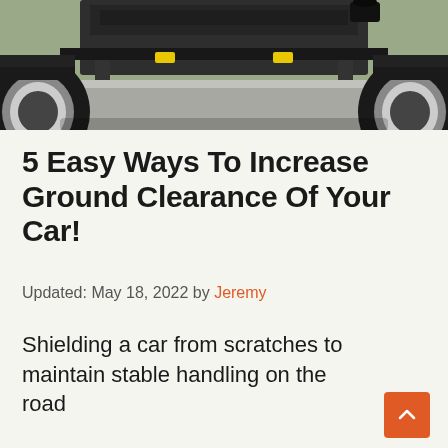[Figure (photo): Underside of a car viewed from the front, showing tires on both sides, axle, exhaust pipe, and road surface below]
5 Easy Ways To Increase Ground Clearance Of Your Car!
Updated: May 18, 2022 by Jeremy
Shielding a car from scratches to maintain stable handling on the road